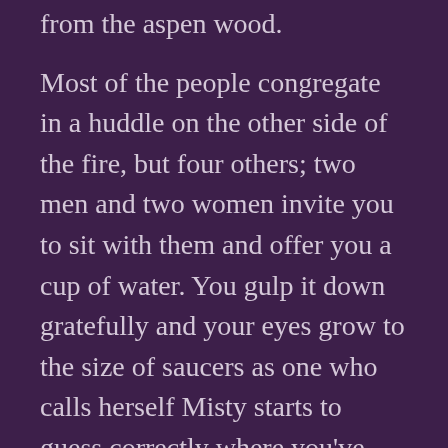from the aspen wood.
Most of the people congregate in a huddle on the other side of the fire, but four others; two men and two women invite you to sit with them and offer you a cup of water. You gulp it down gratefully and your eyes grow to the size of saucers as one who calls herself Misty starts to guess correctly where you've come from!